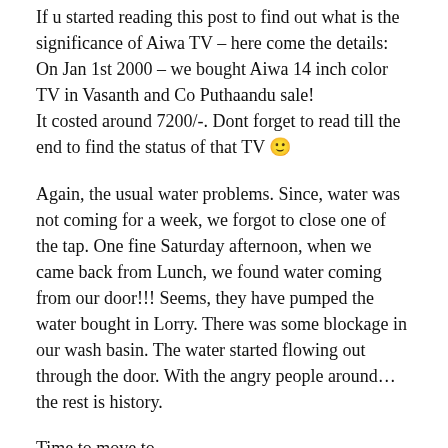If u started reading this post to find out what is the significance of Aiwa TV – here come the details:
On Jan 1st 2000 – we bought Aiwa 14 inch color TV in Vasanth and Co Puthaandu sale!
It costed around 7200/-. Dont forget to read till the end to find the status of that TV 🙂
Again, the usual water problems. Since, water was not coming for a week, we forgot to close one of the tap. One fine Saturday afternoon, when we came back from Lunch, we found water coming from our door!!! Seems, they have pumped the water bought in Lorry. There was some blockage in our wash basin. The water started flowing out through the door. With the angry people around… the rest is history.
Time to move to…
2002-2004: Nungambakkam
This is house of Malick's colleague friend. No water